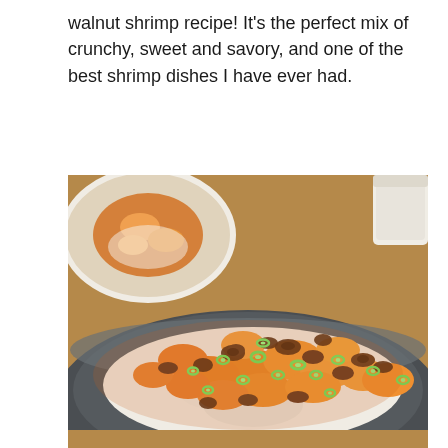walnut shrimp recipe! It's the perfect mix of crunchy, sweet and savory, and one of the best shrimp dishes I have ever had.
[Figure (photo): A dark bowl filled with walnut shrimp served over white rice, garnished with sliced green onions and candied walnuts. A second similar dish is visible in the background upper left.]